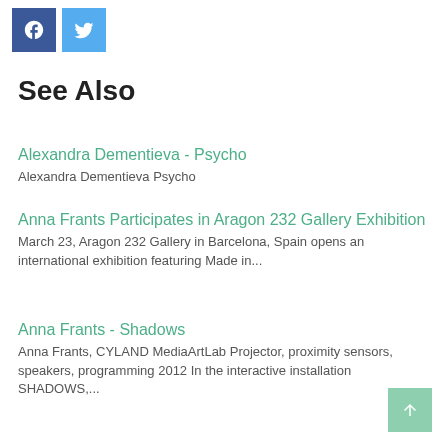[Figure (logo): Facebook and Twitter social sharing buttons at top left]
See Also
Alexandra Dementieva - Psycho
Alexandra Dementieva Psycho
Anna Frants Participates in Aragon 232 Gallery Exhibition
March 23, Aragon 232 Gallery in Barcelona, Spain opens an international exhibition featuring Made in...
Anna Frants - Shadows
Anna Frants, CYLAND MediaArtLab Projector, proximity sensors, speakers, programming 2012 In the interactive installation SHADOWS,...
[Figure (other): Scroll to top button, light green square with upward arrow]